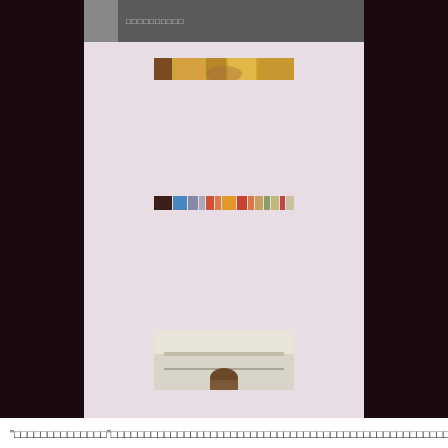□□□□□□□□□□
[Figure (photo): Cropped photo strip showing partial view of a person, gold/warm tones]
[Figure (photo): Cropped colorful strip image with mixed colors]
[Figure (photo): Photo of a person in what appears to be an interior setting with shelves]
"□□□□□□□□□□□□□□"□□□□□□□□□□□□□□□□□□□□□□□□□□□□□□□□□□□□□□□□□□□□□□□□□□□□□□□□□□□□□□□□□□□□□□□□□□□□□□□□□□□□□□□□□□□□□□□□□□□